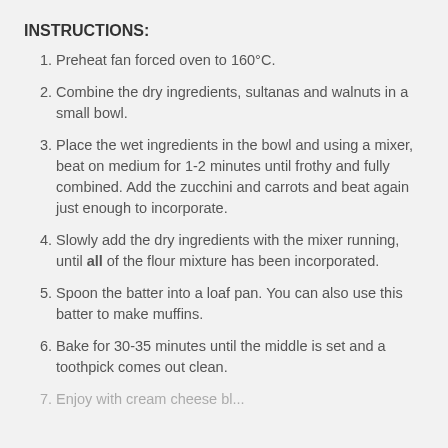INSTRUCTIONS:
Preheat fan forced oven to 160°C.
Combine the dry ingredients, sultanas and walnuts in a small bowl.
Place the wet ingredients in the bowl and using a mixer, beat on medium for 1-2 minutes until frothy and fully combined. Add the zucchini and carrots and beat again just enough to incorporate.
Slowly add the dry ingredients with the mixer running, until all of the flour mixture has been incorporated.
Spoon the batter into a loaf pan. You can also use this batter to make muffins.
Bake for 30-35 minutes until the middle is set and a toothpick comes out clean.
Enjoy with cream cheese ble...